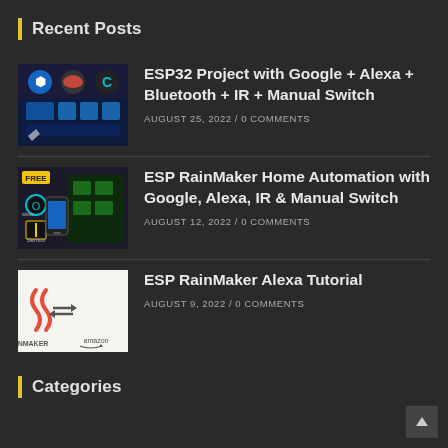Recent Posts
[Figure (screenshot): Thumbnail for ESP32 Project post showing Bluetooth, ESP-NOW, Alexa logos and relay circuit board]
ESP32 Project with Google + Alexa + Bluetooth + IR + Manual Switch
AUGUST 25, 2022 / 0 COMMENTS
[Figure (screenshot): Thumbnail for ESP RainMaker Home Automation post showing phone app and relay board]
ESP RainMaker Home Automation with Google, Alexa, IR & Manual Switch
AUGUST 12, 2022 / 0 COMMENTS
[Figure (logo): Thumbnail for ESP RainMaker Alexa Tutorial showing RainMaker and Amazon logos]
ESP RainMaker Alexa Tutorial
AUGUST 9, 2022 / 0 COMMENTS
Categories